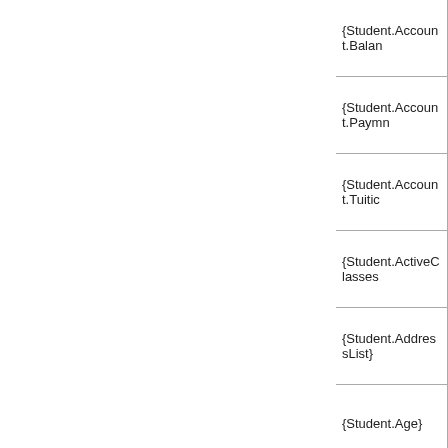| {Student.Account.Bala...} |
| {Student.Account.Paym...} |
| {Student.Account.Tuitic...} |
| {Student.ActiveClasses...} |
| {Student.AddressList} |
| {Student.Age} |